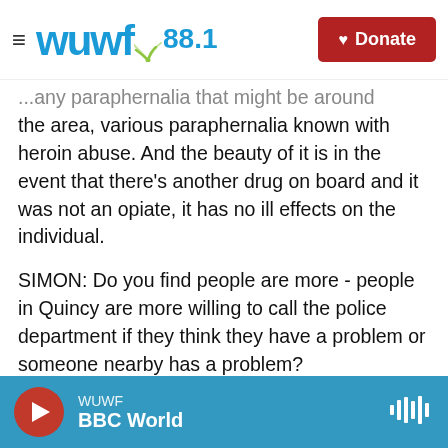WUWF 88.1 | Donate
...any paraphernalia that might be around the area, various paraphernalia known with heroin abuse. And the beauty of it is in the event that there's another drug on board and it was not an opiate, it has no ill effects on the individual.
SIMON: Do you find people are more - people in Quincy are more willing to call the police department if they think they have a problem or someone nearby has a problem?
GLYNN: Absolutely. The perception of the police in the city of Quincy has dramatically changed. It's dramatically changing throughout the state. People
WUWF | BBC World